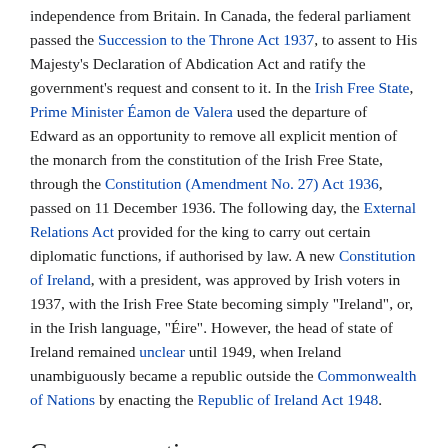independence from Britain. In Canada, the federal parliament passed the Succession to the Throne Act 1937, to assent to His Majesty's Declaration of Abdication Act and ratify the government's request and consent to it. In the Irish Free State, Prime Minister Éamon de Valera used the departure of Edward as an opportunity to remove all explicit mention of the monarch from the constitution of the Irish Free State, through the Constitution (Amendment No. 27) Act 1936, passed on 11 December 1936. The following day, the External Relations Act provided for the king to carry out certain diplomatic functions, if authorised by law. A new Constitution of Ireland, with a president, was approved by Irish voters in 1937, with the Irish Free State becoming simply "Ireland", or, in the Irish language, "Éire". However, the head of state of Ireland remained unclear until 1949, when Ireland unambiguously became a republic outside the Commonwealth of Nations by enacting the Republic of Ireland Act 1948.
Commemoration
In some countries where the Statute of Westminster forms a part of the constitution, the anniversary of the date of the passage of the